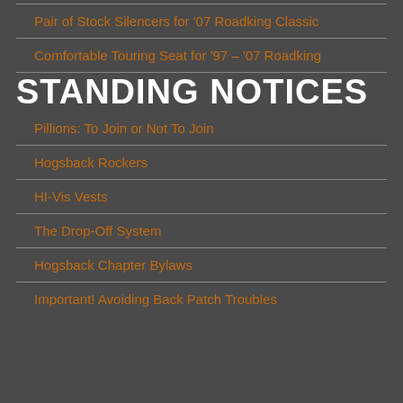Pair of Stock Silencers for '07 Roadking Classic
Comfortable Touring Seat for '97 – '07 Roadking
STANDING NOTICES
Pillions: To Join or Not To Join
Hogsback Rockers
HI-Vis Vests
The Drop-Off System
Hogsback Chapter Bylaws
Important! Avoiding Back Patch Troubles